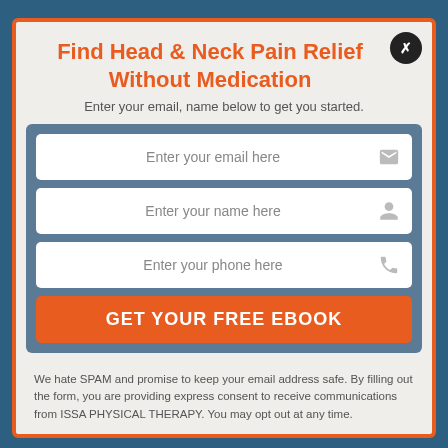Find Head & Neck Pain Relief Without Medication
Enter your email, name below to get you started.
Enter your email here
Enter your name here
Enter your phone here
GET YOUR FREE EBOOK
We hate SPAM and promise to keep your email address safe. By filling out the form, you are providing express consent to receive communications from ISSA PHYSICAL THERAPY. You may opt out at any time.